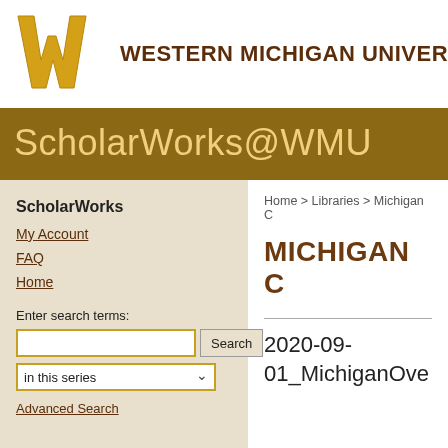[Figure (logo): Western Michigan University WMU gold W logo and university name header]
ScholarWorks@WMU
ScholarWorks
My Account
FAQ
Home
Enter search terms:
in this series
Advanced Search
Home > Libraries > Michigan C
MICHIGAN C
2020-09-01_MichiganOve